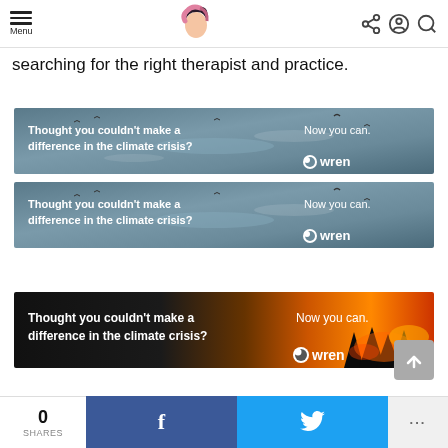Menu | [logo] | [share] [account] [search]
searching for the right therapist and practice.
[Figure (infographic): Wren advertisement banner over ocean background. Left text: 'Thought you couldn't make a difference in the climate crisis?' Right text: 'Now you can. [bird icon] wren']
[Figure (infographic): Wren advertisement banner over ocean background (duplicate). Left text: 'Thought you couldn't make a difference in the climate crisis?' Right text: 'Now you can. [bird icon] wren']
[Figure (infographic): Wren advertisement banner over wildfire/forest fire background. Left text: 'Thought you couldn't make a difference in the climate crisis?' Right text: 'Now you can. [bird icon] wren']
0 SHARES | f (Facebook) | [Twitter bird] | ...